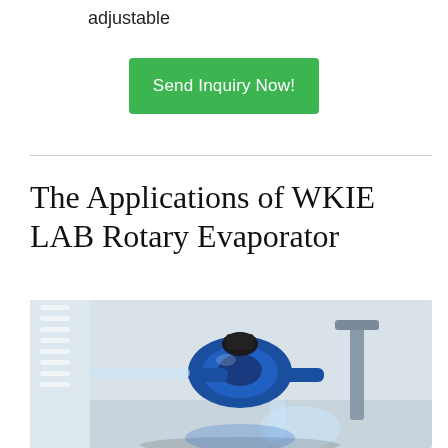adjustable
Send Inquiry Now!
The Applications of WKIE LAB Rotary Evaporator
[Figure (photo): Close-up photograph of a blue and black rotary evaporator joint/rotor mechanism with glass flask attached, laboratory glassware and white condenser coil visible in the background on a light grey surface.]